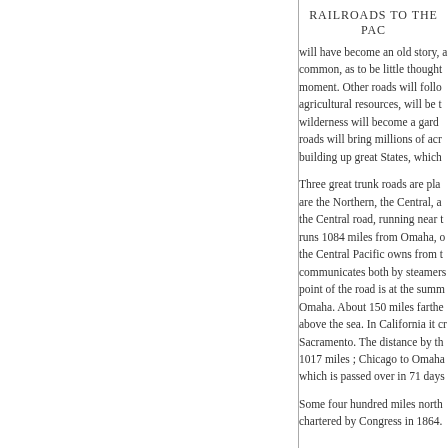RAILROADS TO THE PAC
will have become an old story, a common, as to be little thought moment. Other roads will follo agricultural resources, will be t wilderness will become a gard roads will bring millions of acr building up great States, which
Three great trunk roads are pla are the Northern, the Central, a the Central road, running near runs 1084 miles from Omaha, the Central Pacific owns from communicates both by steamer point of the road is at the sum Omaha. About 150 miles farth above the sea. In California it Sacramento. The distance by t 1017 miles ; Chicago to Omah which is passed over in 71 day
Some four hundred miles north chartered by Congress in 1864.